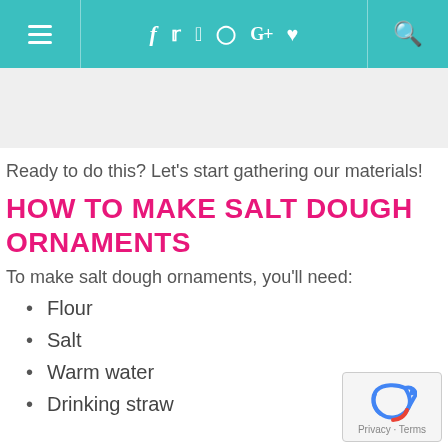Navigation bar with hamburger menu, social icons (f, Twitter, Pinterest, Instagram, G+, heart), and search icon
Ready to do this? Let's start gathering our materials!
HOW TO MAKE SALT DOUGH ORNAMENTS
To make salt dough ornaments, you'll need:
Flour
Salt
Warm water
Drinking straw